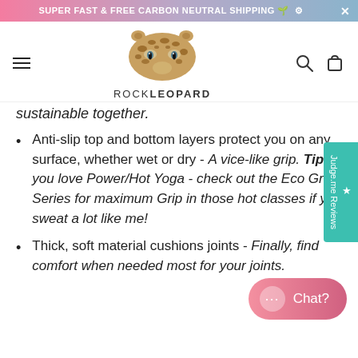SUPER FAST & FREE CARBON NEUTRAL SHIPPING 🌱 ⚙ ✕
[Figure (logo): Rock Leopard brand logo with leopard face illustration and text ROCKLEOPARD]
sustainable together.
Anti-slip top and bottom layers protect you on any surface, whether wet or dry - A vice-like grip. Tip: if you love Power/Hot Yoga - check out the Eco Grip Series for maximum Grip in those hot classes if you sweat a lot like me!
Thick, soft material cushions joints - Finally, find comfort when needed most for your joints.